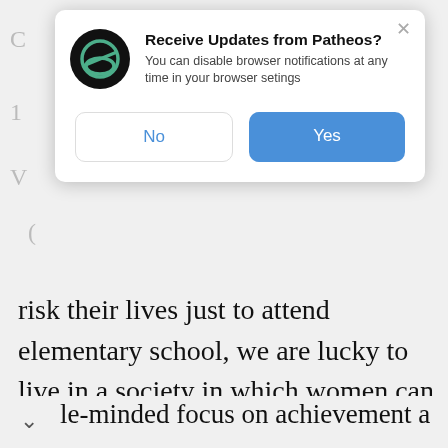[Figure (screenshot): Browser notification popup dialog from Patheos asking user to receive updates, with No and Yes buttons]
risk their lives just to attend elementary school, we are lucky to live in a society in which women can attend elite colleges and aspire to professional careers. But when the desire to achieve leads women to drown their anxieties in alcohol and engage in risky sexual behavior, that desire ceases to be an indicator of feminist power and equality. A le-minded focus on achievement at any